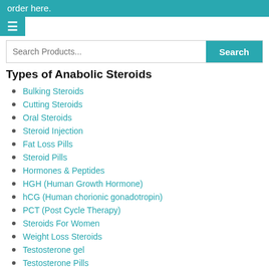order here.
Search Products...
Types of Anabolic Steroids
Bulking Steroids
Cutting Steroids
Oral Steroids
Steroid Injection
Fat Loss Pills
Steroid Pills
Hormones & Peptides
HGH (Human Growth Hormone)
hCG (Human chorionic gonadotropin)
PCT (Post Cycle Therapy)
Steroids For Women
Weight Loss Steroids
Testosterone gel
Testosterone Pills
Oral Tren (Trenbolone Tablets)